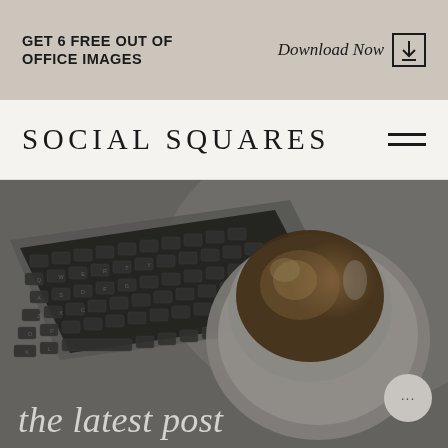GET 6 FREE OUT OF OFFICE IMAGES
Download Now ↓
SOCIAL SQUARES
[Figure (photo): Overhead flat-lay photo of a MacBook keyboard on the left and a white cup of coffee with latte art on a white saucer on the right, on a light surface. Image is desaturated/greyscale with a dark overlay. Script text 'the latest post' overlaid at bottom.]
the latest post